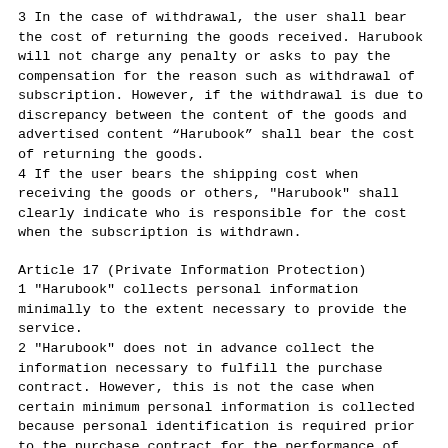3 In the case of withdrawal, the user shall bear the cost of returning the goods received. Harubook will not charge any penalty or asks to pay the compensation for the reason such as withdrawal of subscription. However, if the withdrawal is due to discrepancy between the content of the goods and advertised content “Harubook” shall bear the cost of returning the goods.
4 If the user bears the shipping cost when receiving the goods or others, "Harubook" shall clearly indicate who is responsible for the cost when the subscription is withdrawn.
Article 17 (Private Information Protection)
1 "Harubook" collects personal information minimally to the extent necessary to provide the service.
2 "Harubook" does not in advance collect the information necessary to fulfill the purchase contract. However, this is not the case when certain minimum personal information is collected because personal identification is required prior to the purchase contract for the performance of obligations.
3 "Harubook" informs the user of the purpose and obtains